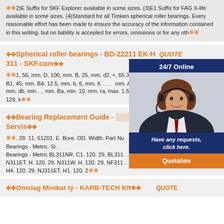❋❋2)E Suffix for SKF Explorer available in some sizes. (3)E1 Suffix for FAG X-life available in some sizes. (4)Standard for all Timken spherical roller bearings. Every reasonable effort has been made to ensure the accuracy of the information contained in this writing, but no liability is accepted for errors, omissions or for any oth❋❋
❋❋Spherical roller bearings - BD-22211 EK-H 311 - SKF.com❋❋  QUOTE
❋❋1, 50, mm. D, 100, mm. B, 25, mm. d2, ≈, 65.3, mm. d3, 75, mm. D1, ≈, 88, mm. B1, 45, mm. B4, 12.5, mm. b, 6, mm. K … mm. Abutment dimensions. da, max. 65, mm. db, min … mm. Ba, min. 10, mm. ra, max. 1.5, mm. Calcula … nic load rating, C, 129, k❋❋
❋❋Bearing Replacement Guide - … Servis❋❋  QUOTE
❋❋. 28. 11. 51201. E. Bore. OD. Width. Part Nu … ype. 25. Single Row Radial Ball Bearings - Metric. Si … Bearings - Metric BL311NR. C1. 120. 29. BL311 … N311ET. H. 120. 29. N311W. H. 120. 29. NF311 … W. H4. 120. 29. NJ311ET. H1. 120. 2❋❋
❋❋Omslag Minikat ty - KARB-TECH Kft❋❋  QUOTE
[Figure (photo): Customer service representative with headset, overlaid chat widget showing '24/7 Online' header, woman photo, 'Have any requests, click here.' text, and orange 'Quotation' button]